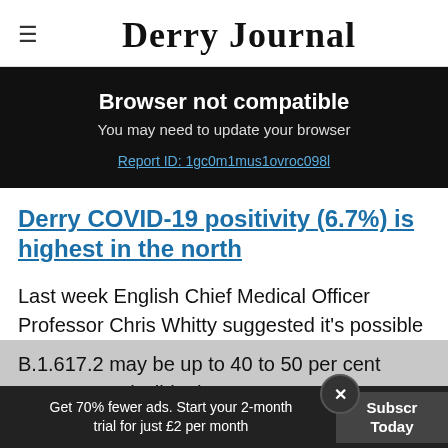Derry Journal
Browser not compatible
You may need to update your browser
Report ID: 1gc0m1mus1ovroc098l
Derry COVID-19 positivity (6.7%) is highest in the north
Last week English Chief Medical Officer Professor Chris Whitty suggested it's possible B.1.617.2 may be up to 40 to 50 per cent more transmissible than B.1.1.7.
Get 70% fewer ads. Start your 2-month trial for just £2 per month  Subscribe Today